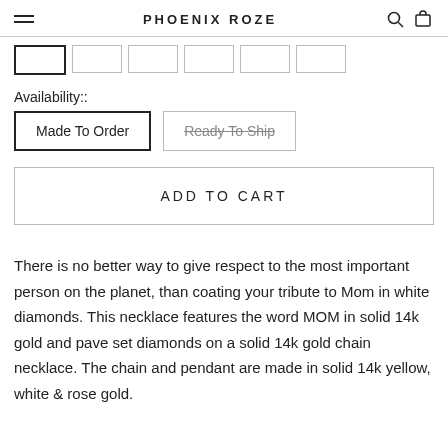PHOENIX ROZE
Availability::
Made To Order | Ready To Ship
ADD TO CART
There is no better way to give respect to the most important person on the planet, than coating your tribute to Mom in white diamonds. This necklace features the word MOM in solid 14k gold and pave set diamonds on a solid 14k gold chain necklace. The chain and pendant are made in solid 14k yellow, white & rose gold.